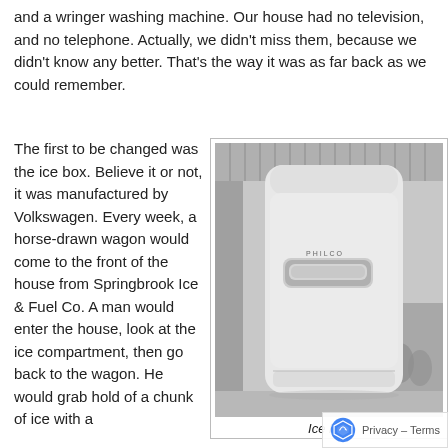and a wringer washing machine. Our house had no television, and no telephone. Actually, we didn't miss them, because we didn't know any better. That's the way it was as far back as we could remember.
The first to be changed was the ice box. Believe it or not, it was manufactured by Volkswagen. Every week, a horse-drawn wagon would come to the front of the house from Springbrook Ice & Fuel Co. A man would enter the house, look at the ice compartment, then go back to the wagon. He would grab hold of a chunk of ice with a
[Figure (photo): Black and white photograph of a vintage Philco refrigerator/ice box, standing upright with a chrome handle, shown against a corrugated metal wall background.]
Ice box